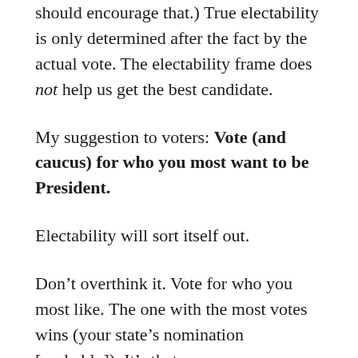should encourage that.) True electability is only determined after the fact by the actual vote. The electability frame does not help us get the best candidate.
My suggestion to voters: Vote (and caucus) for who you most want to be President.
Electability will sort itself out.
Don’t overthink it. Vote for who you most like. The one with the most votes wins (your state’s nomination [probably]). It’s that easy.
The person who gets the most votes is the person who the most people want. That’s the only way to truly